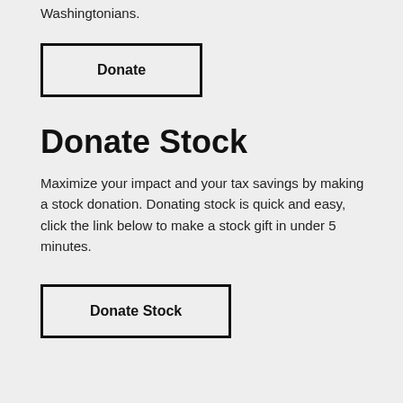Washingtonians.
[Figure (other): Donate button — black bordered rectangle with bold text 'Donate']
Donate Stock
Maximize your impact and your tax savings by making a stock donation. Donating stock is quick and easy, click the link below to make a stock gift in under 5 minutes.
[Figure (other): Donate Stock button — black bordered rectangle with bold text 'Donate Stock']